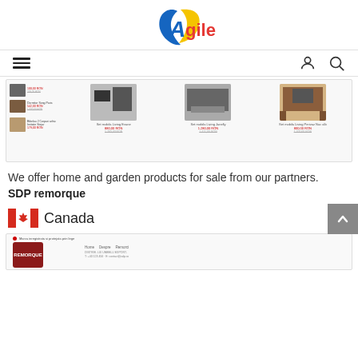[Figure (logo): Agile company logo with blue and yellow swoosh design and colorful 'Agile' text]
[Figure (screenshot): Navigation bar with hamburger menu icon on left, user/account icon and search icon on right]
[Figure (screenshot): E-commerce product listing showing furniture items including living room sets with prices in red]
We offer home and garden products for sale from our partners.
SDP remorque
[Figure (illustration): Canadian flag emoji followed by the word Canada]
[Figure (screenshot): Bottom screenshot showing SDP Remorque website with logo and contact information]